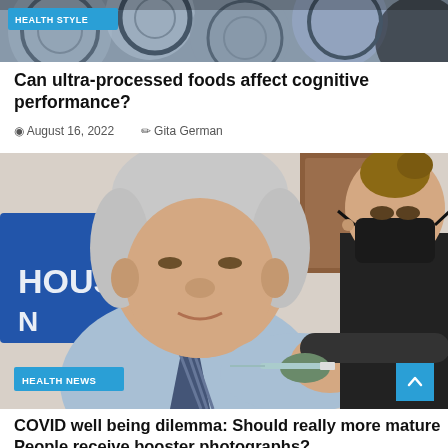[Figure (photo): Top banner image showing canned processed foods with a 'HEALTH STYLE' blue badge overlay]
Can ultra-processed foods affect cognitive performance?
August 16, 2022   Gita German
[Figure (photo): Photo of an elderly man (resembling Joe Biden) receiving a vaccine injection from a healthcare worker wearing a black mask and gloves, with 'HOUSE' visible on a blue backdrop in the background. A 'HEALTH NEWS' blue badge is overlaid at the bottom left.]
COVID well being dilemma: Should really more mature People receive booster photographs?